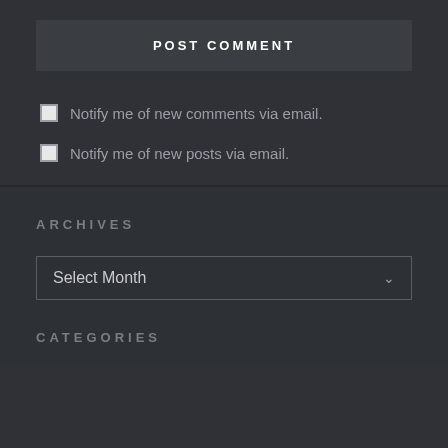POST COMMENT
Notify me of new comments via email.
Notify me of new posts via email.
ARCHIVES
Select Month
CATEGORIES